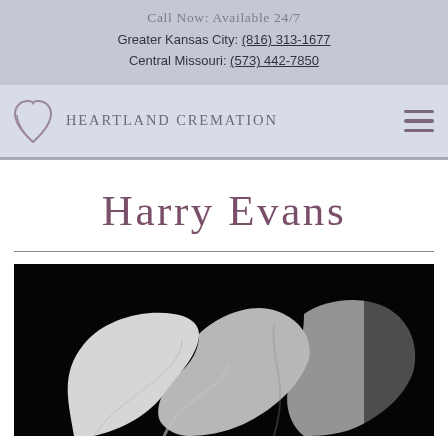Call Now: Available 24/7
Greater Kansas City: (816) 313-1677
Central Missouri: (573) 442-7850
[Figure (logo): Heartland Cremation logo: heart-shaped teardrop icon in muted purple/gray, followed by text HEARTLAND CREMATION in spaced uppercase serif font. Hamburger menu icon on the right.]
Harry Evans
[Figure (photo): Black and white close-up photograph of calla lily flowers against a dark background, showing graceful curving white petals with dramatic contrast.]